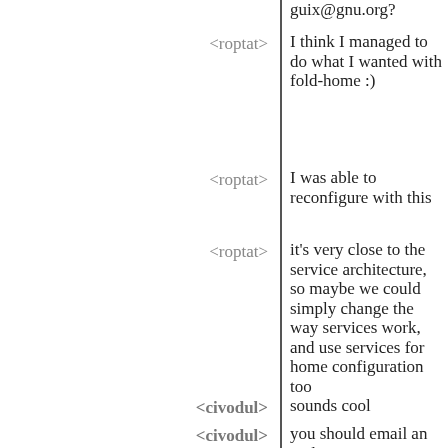guix@gnu.org?
<roptat> I think I managed to do what I wanted with fold-home :)
<roptat> I was able to reconfigure with this
<roptat> it's very close to the service architecture, so maybe we could simply change the way services work, and use services for home configuration too
<civodul> sounds cool
<civodul> you should email an update!